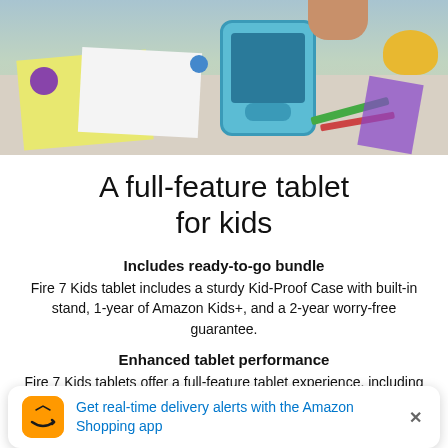[Figure (photo): Child at a craft table with a blue Amazon Fire Kids tablet in a Kid-Proof Case, yellow paper, art supplies, crayons, pom-poms, and a yellow bowl in the background.]
A full-feature tablet for kids
Includes ready-to-go bundle
Fire 7 Kids tablet includes a sturdy Kid-Proof Case with built-in stand, 1-year of Amazon Kids+, and a 2-year worry-free guarantee.
Enhanced tablet performance
Fire 7 Kids tablets offer a full-feature tablet experience, including up to 30% faster quad-core processor compared to
Get real-time delivery alerts with the Amazon Shopping app